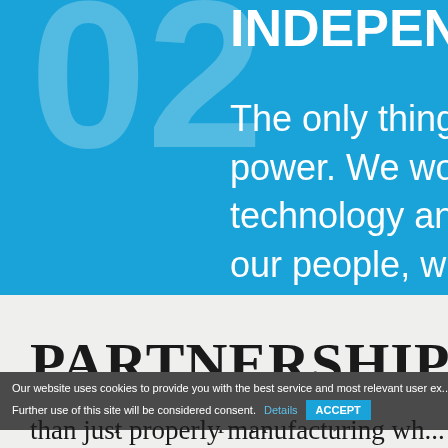02
INDEPEND...
The only thing one ca... power. We work with... technology and rely o... our people, without u...
PARTNERSHIP
For our partnership approach, much more ner e...
than just properly manufacturing wh...
Our website uses cookies to provide you with the best service and most relevant user ex... Further use of this site will be considered consent. Details ACCEPT